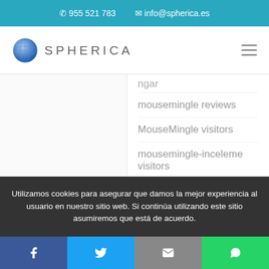✆ 955 521 783  ✉ info@spherica.es
[Figure (logo): Spherica globe logo with text SPHERICA and hamburger menu icon]
ngar
mousemingle reviews
MouseMingle visitors
mousemingle-inceleme visitors
Muddy Matches review
muslima fr review
muslima-inceleme visitors
Utilizamos cookies para asegurar que damos la mejor experiencia al usuario en nuestro sitio web. Si continúa utilizando este sitio asumiremos que está de acuerdo.
Facebook | Twitter | Email | WhatsApp